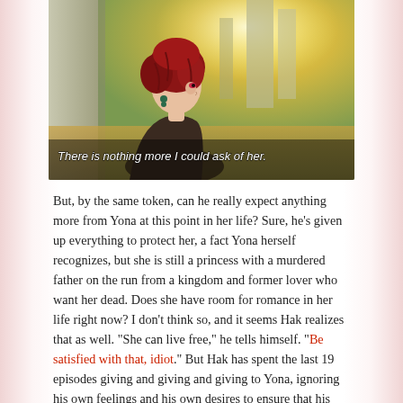[Figure (illustration): Anime screenshot showing a red-haired female character (Yona) looking to the side, with a forest background and warm golden lighting. Subtitle text reads: 'There is nothing more I could ask of her.']
But, by the same token, can he really expect anything more from Yona at this point in her life? Sure, he's given up everything to protect her, a fact Yona herself recognizes, but she is still a princess with a murdered father on the run from a kingdom and former lover who want her dead. Does she have room for romance in her life right now? I don't think so, and it seems Hak realizes that as well. "She can live free," he tells himself. "Be satisfied with that, idiot." But Hak has spent the last 19 episodes giving and giving and giving to Yona, ignoring his own feelings and his own desires to ensure that his princess is enabled to follow the path she chooses. Somewhere along the line he will have to figure this out or it might as well destroy him.